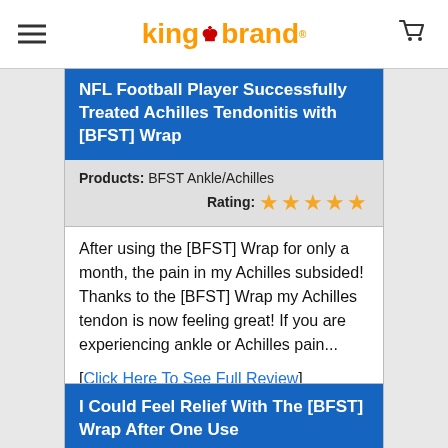King Brand
NFL Football Player Successfully Treated Achilles Tendonitis with [BFST] Wrap
Products: BFST Ankle/Achilles
Rating: ★★★★★
After using the [BFST] Wrap for only a month, the pain in my Achilles subsided! Thanks to the [BFST] Wrap my Achilles tendon is now feeling great! If you are experiencing ankle or Achilles pain...
[Click Here To See Full Review]
Steve Smith, NY USA - Sep 01, 2009
Occupation: NFL Pro Wide Receiver
I Could Feel Relief With The [BFST] Wrap After One Use